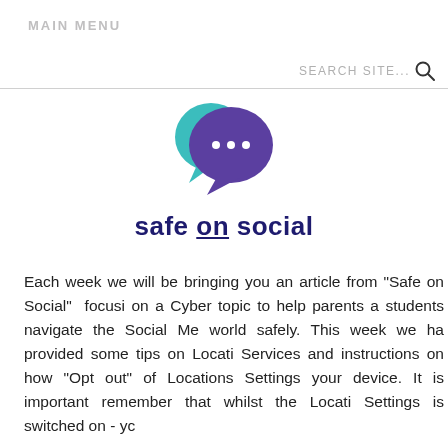MAIN MENU
[Figure (logo): Safe on Social logo with teal and purple speech bubble icons and text 'safe on social']
Each week we will be bringing you an article from "Safe on Social" focusing on a Cyber topic to help parents and students navigate the Social Media world safely. This week we have provided some tips on Location Services and instructions on how to "Opt out" of Locations Settings on your device. It is important to remember that whilst the Location Settings is switched on - you